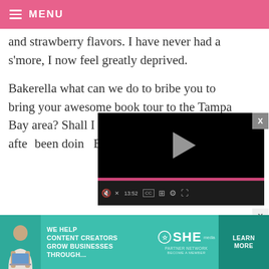MENU
and strawberry flavors. I have never had a s'more, I now feel greatly deprived.
Bakerella what can we do to bribe you to bring your awesome book tour to the Tampa Bay area? Shall I start a petition and... think after... been doing... Beach wo... Come see us soon!!
[Figure (screenshot): Embedded video player with black background, play button in center, progress bar, and controls showing 13:52 timestamp and CC/settings icons]
[Figure (infographic): SHE Partner Network advertisement banner with teal background showing woman with laptop, text reading WE HELP CONTENT CREATORS GROW BUSINESSES THROUGH... with LEARN MORE button]